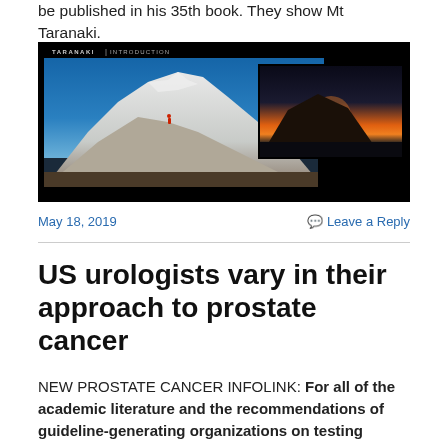be published in his 35th book. They show Mt Taranaki.
[Figure (photo): Book layout screenshot showing two photos of Mt Taranaki: a large snowy mountain with a climber, and an inset sunset silhouette. Label reads 'TARANAKI | INTRODUCTION'.]
May 18, 2019  Leave a Reply
US urologists vary in their approach to prostate cancer
NEW PROSTATE CANCER INFOLINK: For all of the academic literature and the recommendations of guideline-generating organizations on testing